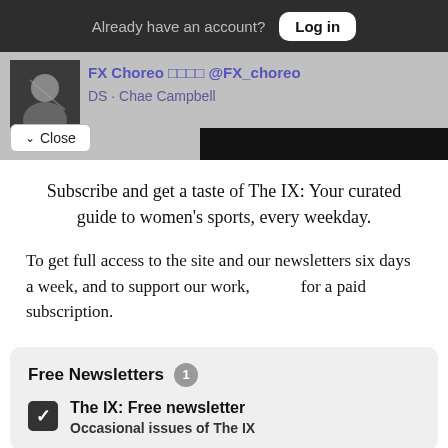Already have an account? Log in
[Figure (screenshot): Twitter/X profile bar showing FX Choreo account with avatar and name, with a Close button overlay and black bar]
Subscribe and get a taste of The IX: Your curated guide to women's sports, every weekday.
To get full access to the site and our newsletters six days a week, and to support our work, for a paid subscription.
Free Newsletters 1
The IX: Free newsletter — Occasional issues of The IX